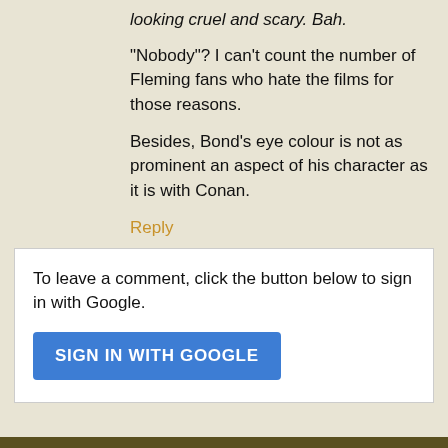looking cruel and scary. Bah.
"Nobody"? I can't count the number of Fleming fans who hate the films for those reasons.
Besides, Bond's eye colour is not as prominent an aspect of his character as it is with Conan.
Reply
To leave a comment, click the button below to sign in with Google.
SIGN IN WITH GOOGLE
Home | View web version | Powered by Blogger.